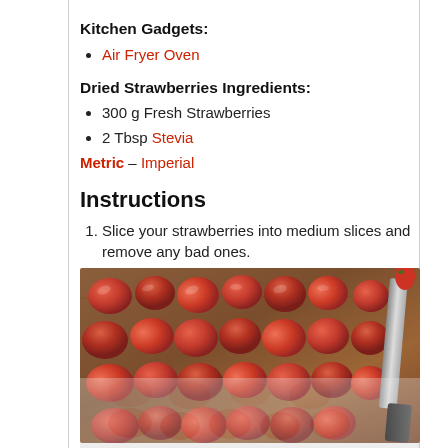Kitchen Gadgets:
Air Fryer Oven
Dried Strawberries Ingredients:
300 g Fresh Strawberries
2 Tbsp Stevia
Metric – Imperial
Instructions
Slice your strawberries into medium slices and remove any bad ones.
[Figure (photo): Sliced strawberries laid out on a wooden cutting board with a knife visible on the right side]